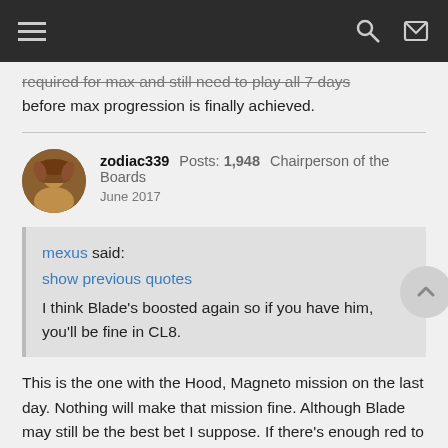Navigation bar with hamburger menu, search icon, and login icon
required for max and still need to play all 7 days before max progression is finally achieved.
zodiac339  Posts: 1,948  Chairperson of the Boards
June 2017
mexus said:
show previous quotes
I think Blade's boosted again so if you have him, you'll be fine in CL8.
This is the one with the Hood, Magneto mission on the last day. Nothing will make that mission fine. Although Blade may still be the best bet I suppose. If there's enough red to keep Blade from getting to 9 red AP, there's enough for him to throw down the strike